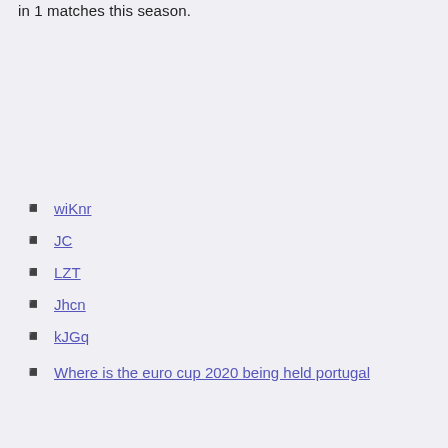in 1 matches this season.
wiKnr
JC
LZT
Jhcn
kJGq
Where is the euro cup 2020 being held portugal